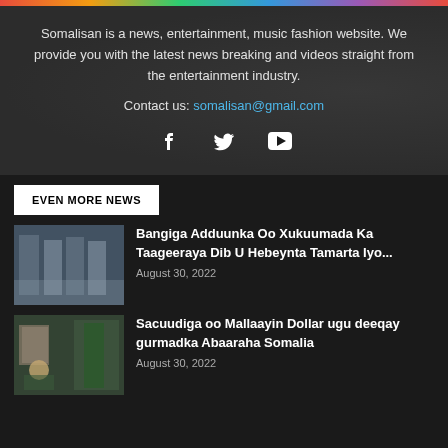[Figure (other): Decorative rainbow colored top bar]
Somalisan is a news, entertainment, music fashion website. We provide you with the latest news breaking and videos straight from the entertainment industry.
Contact us: somalisan@gmail.com
[Figure (illustration): Social media icons: Facebook, Twitter, YouTube]
EVEN MORE NEWS
[Figure (photo): Group of people standing together in formal setting]
Bangiga Adduunka Oo Xukuumada Ka Taageeraya Dib U Hebeynta Tamarta Iyo...
August 30, 2022
[Figure (photo): Official seated at desk with portrait and flag in background]
Sacuudiga oo Mallaayin Dollar ugu deeqay gurmadka Abaaraha Somalia
August 30, 2022